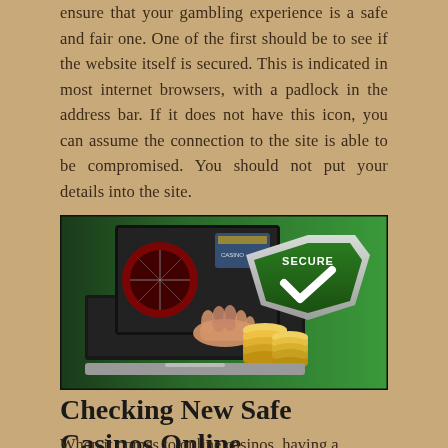ensure that your gambling experience is a safe and fair one. One of the first should be to see if the website itself is secured. This is indicated in most internet browsers, with a padlock in the address bar. If it does not have this icon, you can assume the connection to the site is able to be compromised. You should not put your details into the site.
[Figure (illustration): A promotional image showing a laptop with casino game imagery coming out of the screen, a hand touching gold coins, and a large green security shield with a checkmark and the word SECURE on it, set against a green background.]
Checking New Safe Casinos Online
When it comes to online casinos, having a